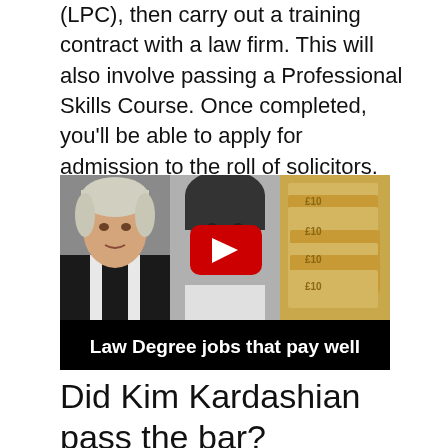(LPC), then carry out a training contract with a law firm. This will also involve passing a Professional Skills Course. Once completed, you'll be able to apply for admission to the roll of solicitors. Qualifying to become a barrister involves three stages of training.
[Figure (screenshot): Video thumbnail showing a barrister in wig and robes on the left, a young black woman in the center, stacks of British pound notes on the right, with a YouTube play button overlay and caption 'Law Degree jobs that pay well']
Did Kim Kardashian pass the bar?